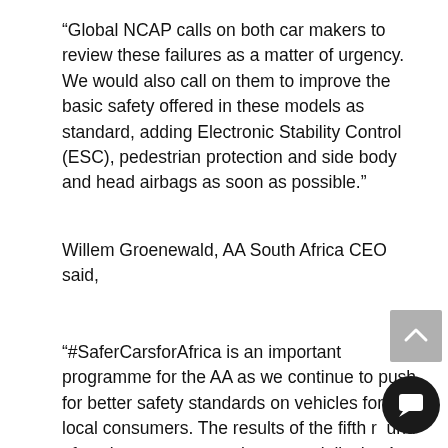“Global NCAP calls on both car makers to review these failures as a matter of urgency. We would also call on them to improve the basic safety offered in these models as standard, adding Electronic Stability Control (ESC), pedestrian protection and side body and head airbags as soon as possible.”
Willem Groenewald, AA South Africa CEO said,
“#SaferCarsforAfrica is an important programme for the AA as we continue to push for better safety standards on vehicles for local consumers. The results of the fifth round of testing are encouraging, especially the 4